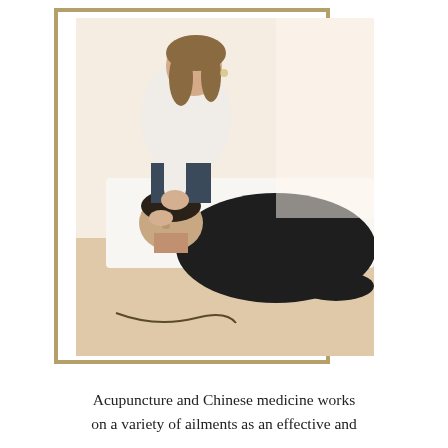[Figure (photo): A female acupuncturist in a white top stands over a male patient lying on a treatment table wearing a black shirt. She is placing her hands near his neck/ear area in a clinical room with warm lighting.]
Acupuncture and Chinese medicine works on a variety of ailments as an effective and